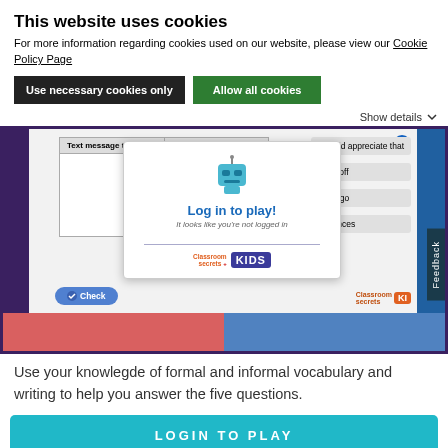This website uses cookies
For more information regarding cookies used on our website, please view our Cookie Policy Page
Use necessary cookies only
Allow all cookies
Show details
[Figure (screenshot): Screenshot of an educational game interface showing a table with 'Text message to friend' and 'Letter to' columns, a login modal overlay with a robot icon saying 'Log in to play! It looks like you're not logged in', Classroom Secrets Kids logos, answer options like 'cried off', 'I would appreciate that', 'nana go', 'the ances', a Check button, and a Feedback tab on the right side.]
Use your knowlegde of formal and informal vocabulary and writing to help you answer the five questions.
LOGIN TO PLAY